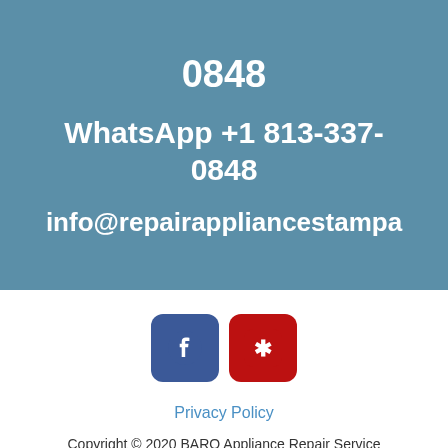0848
WhatsApp +1 813-337-0848
info@repairappliancestampa
[Figure (logo): Facebook icon button (blue rounded square with white Facebook logo)]
[Figure (logo): Yelp icon button (red rounded square with white Yelp logo)]
Privacy Policy
Copyright © 2020 BARO Appliance Repair Service